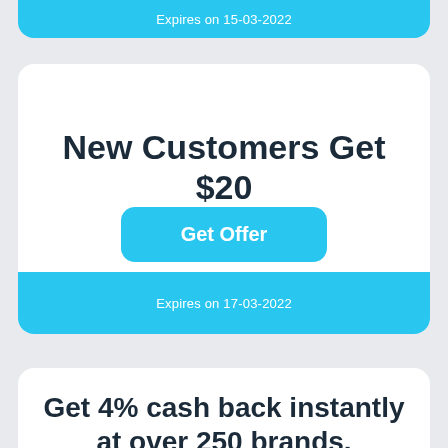Expires on 15-03-2022
New Customers Get $20
Get Offer
Expires on 17-03-2022
Get 4% cash back instantly at over 250 brands.